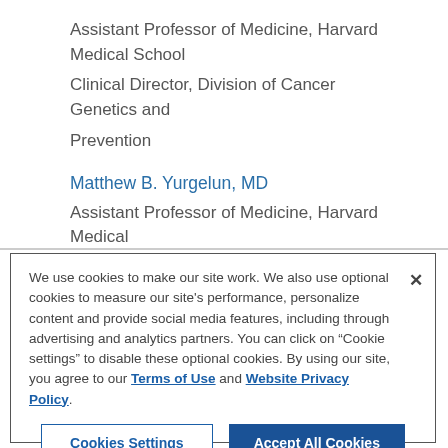Assistant Professor of Medicine, Harvard Medical School
Clinical Director, Division of Cancer Genetics and Prevention
Matthew B. Yurgelun, MD
Assistant Professor of Medicine, Harvard Medical School
We use cookies to make our site work. We also use optional cookies to measure our site's performance, personalize content and provide social media features, including through advertising and analytics partners. You can click on “Cookie settings” to disable these optional cookies. By using our site, you agree to our Terms of Use and Website Privacy Policy.
Cookies Settings | Accept All Cookies